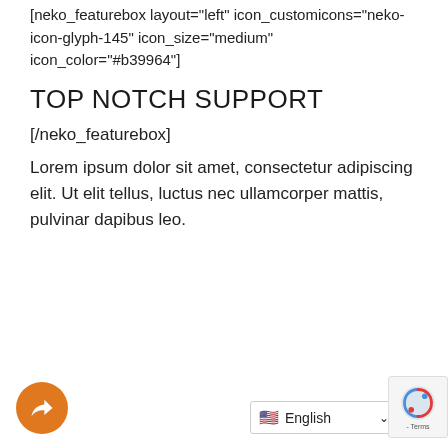[neko_featurebox layout="left" icon_customicons="neko-icon-glyph-145" icon_size="medium" icon_color="#b39964"]
TOP NOTCH SUPPORT
[/neko_featurebox]
Lorem ipsum dolor sit amet, consectetur adipiscing elit. Ut elit tellus, luctus nec ullamcorper mattis, pulvinar dapibus leo.
[Figure (screenshot): Cookie consent banner overlay with 'Decline' and 'Accept' buttons, a close (×) button, share button (orange circle with arrow icon), language selector showing 'English' with flag, and reCAPTCHA badge area with '- Terms' text.]